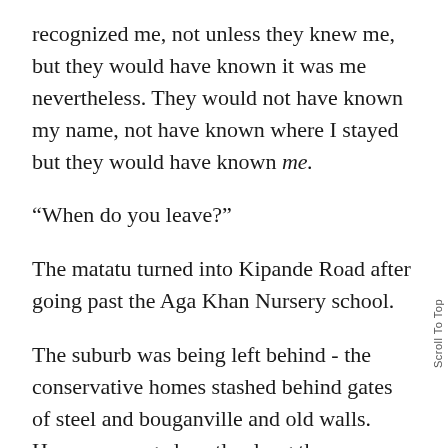recognized me, not unless they knew me, but they would have known it was me nevertheless. They would not have known my name, not have known where I stayed but they would have known me.
“When do you leave?”
The matatu turned into Kipande Road after going past the Aga Khan Nursery school.
The suburb was being left behind - the conservative homes stashed behind gates of steel and bouganville and old walls. Houses arranged neatly along the tributaries of Westlands’ narrow inner roads and together with the interspersed short buildings that were former homes now converted into profits and the big malls that stood